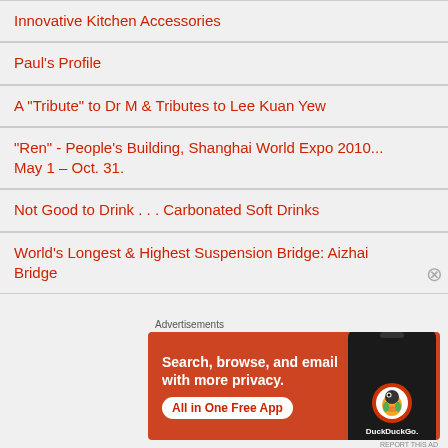Innovative Kitchen Accessories
Paul's Profile
A "Tribute" to Dr M & Tributes to Lee Kuan Yew
"Ren" - People's Building, Shanghai World Expo 2010... May 1 – Oct. 31.
Not Good to Drink . . . Carbonated Soft Drinks
World's Longest & Highest Suspension Bridge: Aizhai Bridge
[Figure (other): DuckDuckGo advertisement banner: orange background with white text 'Search, browse, and email with more privacy. All in One Free App' and a phone image showing the DuckDuckGo logo.]